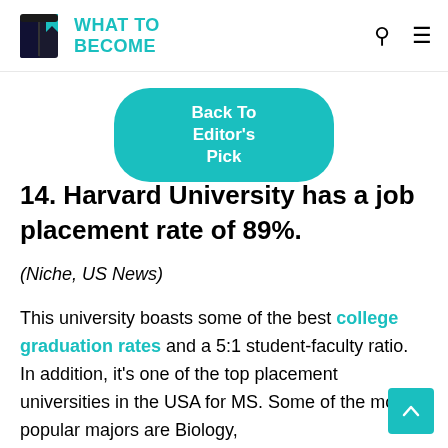WHAT TO BECOME
Back To Editor's Pick
14. Harvard University has a job placement rate of 89%.
(Niche, US News)
This university boasts some of the best college graduation rates and a 5:1 student-faculty ratio. In addition, it's one of the top placement universities in the USA for MS. Some of the most popular majors are Biology,